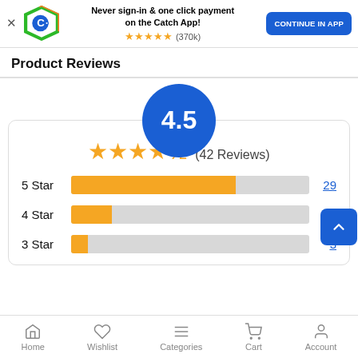[Figure (screenshot): App install banner for Catch app with logo, stars (370k reviews), and 'CONTINUE IN APP' button]
Product Reviews
[Figure (infographic): Rating summary showing 4.5 out of 5 stars (42 Reviews) with bar chart breakdown: 5 Star=29, 4 Star=7, 3 Star=3]
Home  Wishlist  Categories  Cart  Account